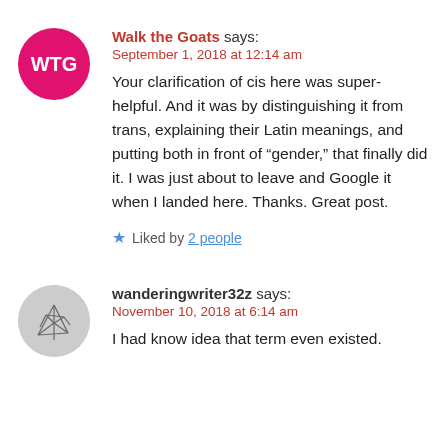[Figure (illustration): Round magenta avatar with white text 'WTG']
Walk the Goats says:
September 1, 2018 at 12:14 am
Your clarification of cis here was super-helpful. And it was by distinguishing it from trans, explaining their Latin meanings, and putting both in front of “gender,” that finally did it. I was just about to leave and Google it when I landed here. Thanks. Great post.
Liked by 2 people
[Figure (illustration): Round gray avatar with abstract line drawing illustration]
wanderingwriter32z says:
November 10, 2018 at 6:14 am
I had know idea that term even existed.